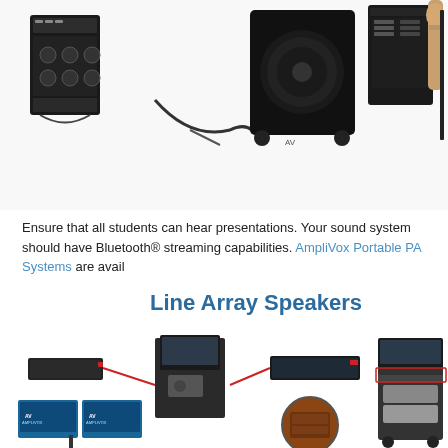[Figure (photo): Collection of portable PA speaker systems, wireless microphones, subwoofer, mixer unit, and accessories including a handheld wireless mic and what appears to be a woodwind instrument, all on white background]
Ensure that all students can hear presentations. Your sound system should have Bluetooth® streaming capabilities. AmpliVox Portable PA Systems are available...
Line Array Speakers
[Figure (photo): Diagram showing AV presenter station setup with line array speaker system, lectern/podium with laptop, audio rack unit connected by red lines, dual monitor display stand with AmpliVox branding, circular inset showing wooden podium detail, and a media presentation cart]